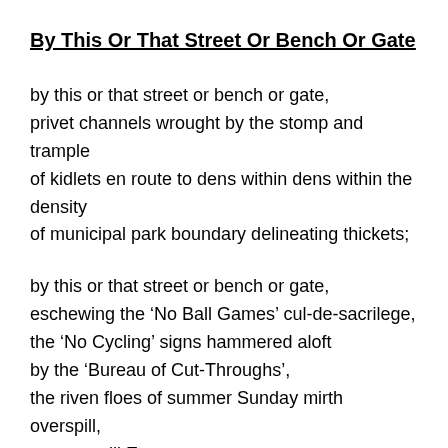By This Or That Street Or Bench Or Gate
by this or that street or bench or gate,
privet channels wrought by the stomp and trample
of kidlets en route to dens within dens within the density
of municipal park boundary delineating thickets;
by this or that street or bench or gate,
eschewing the ‘No Ball Games’ cul-de-sacrilege,
the ‘No Cycling’ signs hammered aloft
by the ‘Bureau of Cut-Throughs’,
the riven floes of summer Sunday mirth overspill,
on overspill Estates…
just as that brazen, criss-crossin’ o’tit-bits and the rat-a-tat
of jaw-jaw